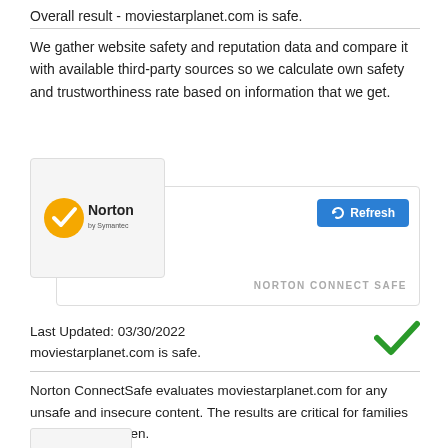Overall result - moviestarplanet.com is safe.
We gather website safety and reputation data and compare it with available third-party sources so we calculate own safety and trustworthiness rate based on information that we get.
[Figure (logo): Norton by Symantec logo with yellow circle and checkmark]
[Figure (screenshot): Norton ConnectSafe card with Refresh button and NORTON CONNECT SAFE label]
Last Updated: 03/30/2022
moviestarplanet.com is safe.
Norton ConnectSafe evaluates moviestarplanet.com for any unsafe and insecure content. The results are critical for families with young children.